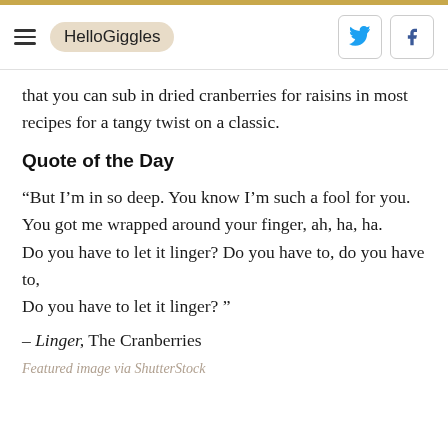HelloGiggles
that you can sub in dried cranberries for raisins in most recipes for a tangy twist on a classic.
Quote of the Day
“But I’m in so deep. You know I’m such a fool for you.
You got me wrapped around your finger, ah, ha, ha.
Do you have to let it linger? Do you have to, do you have to,
Do you have to let it linger? ”
– Linger, The Cranberries
Featured image via ShutterStock